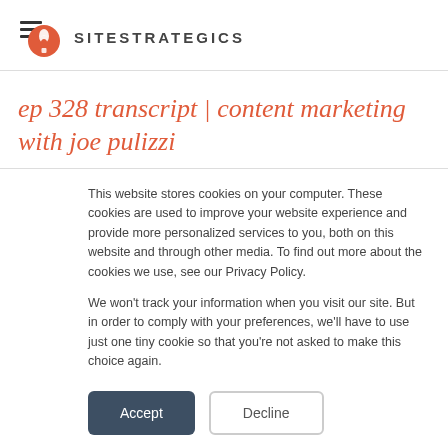SITESTRATEGICS
ep 328 transcript | content marketing with joe pulizzi
This website stores cookies on your computer. These cookies are used to improve your website experience and provide more personalized services to you, both on this website and through other media. To find out more about the cookies we use, see our Privacy Policy.

We won't track your information when you visit our site. But in order to comply with your preferences, we'll have to use just one tiny cookie so that you're not asked to make this choice again.
Accept | Decline